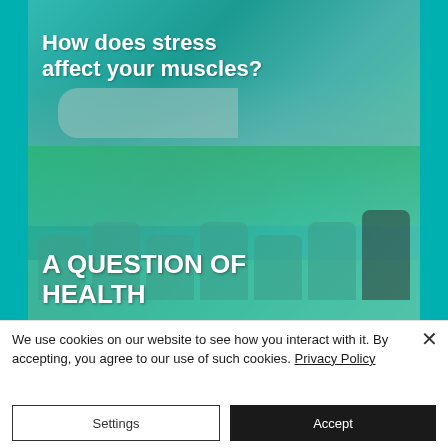[Figure (photo): Teal-tinted image of person lying down reading, with text overlay 'How does stress affect your muscles?']
[Figure (photo): Teal-tinted image of group of people doing squat exercises outdoors in a park, with text overlay 'A QUESTION OF HEALTH']
We use cookies on our website to see how you interact with it. By accepting, you agree to our use of such cookies. Privacy Policy
Settings
Accept